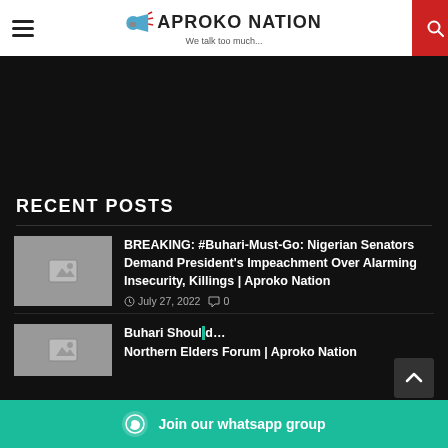Aproko Nation - We talk too much...
[Figure (other): Black banner/advertisement area]
RECENT POSTS
[Figure (photo): Thumbnail placeholder image for breaking news post]
BREAKING: #Buhari-Must-Go: Nigerian Senators Demand President's Impeachment Over Alarming Insecurity, Killings | Aproko Nation
July 27, 2022  0
[Figure (photo): Thumbnail placeholder image for second post]
Buhari Should... Northern Elders Forum | Aproko Nation
Join our whatsapp group